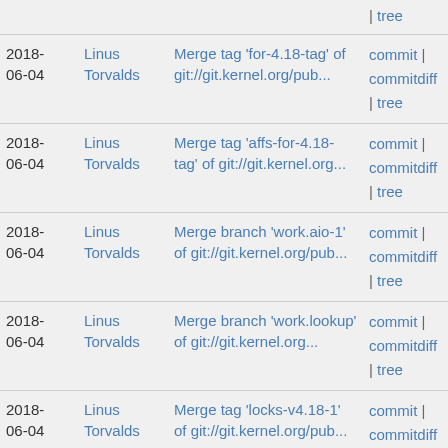| Date | Author | Message | Links |
| --- | --- | --- | --- |
|  |  |  | | tree |
| 2018-06-04 | Linus Torvalds | Merge tag 'for-4.18-tag' of git://git.kernel.org/pub... | commit | commitdiff | tree |
| 2018-06-04 | Linus Torvalds | Merge tag 'affs-for-4.18-tag' of git://git.kernel.org... | commit | commitdiff | tree |
| 2018-06-04 | Linus Torvalds | Merge branch 'work.aio-1' of git://git.kernel.org/pub... | commit | commitdiff | tree |
| 2018-06-04 | Linus Torvalds | Merge branch 'work.lookup' of git://git.kernel.org... | commit | commitdiff | tree |
| 2018-06-04 | Linus Torvalds | Merge tag 'locks-v4.18-1' of git://git.kernel.org/pub... | commit | commitdiff | tree |
| 2018-06-04 | Linus Torvalds | Merge tag 'docs-4.18' of git://lwn.net/linux | commit | commitdiff | tree |
| 2018-06-04 | Linus Torvalds | swait: strengthen language to discourage use... | commit | commitdiff |